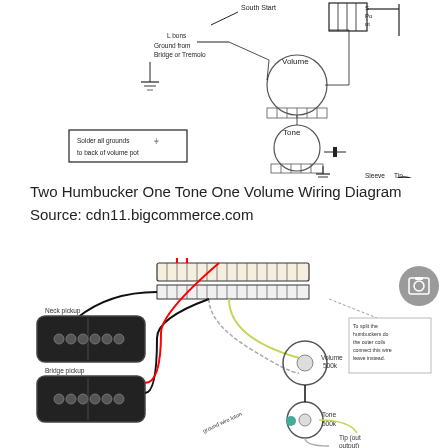[Figure (schematic): Guitar wiring diagram showing two humbuckers, one volume pot, one tone pot, a 3-way switch, and output jack. Labels include South Start, Ground from Bridge or Tremolo, Volume, Tone, Sleeve, Tip, Output Jack, Solder all grounds to back of volume pot. GuitarElectronics.com branding and copyright notice.]
Two Humbucker One Tone One Volume Wiring Diagram Source: cdn11.bigcommerce.com
[Figure (schematic): Second guitar wiring diagram showing two humbucker pickups (neck pickup and bridge pickup) with colored wires (red, black, yellow-green, bare), connected to a volume pot (500k), tone pot (500k), and output jack (Tip Out/output, Sleeve/ground). A note on the right reads: To split the humbuckers do the outer coils connect this wire leave instead. A circular icon with image symbol appears in upper right.]